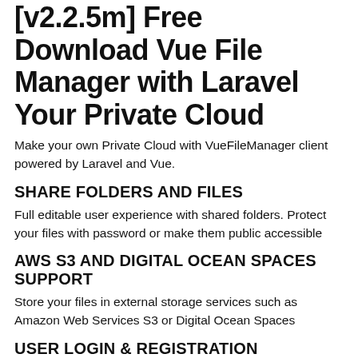[v2.2.5m] Free Download Vue File Manager with Laravel Your Private Cloud
Make your own Private Cloud with VueFileManager client powered by Laravel and Vue.
SHARE FOLDERS AND FILES
Full editable user experience with shared folders. Protect your files with password or make them public accessible
AWS S3 AND DIGITAL OCEAN SPACES SUPPORT
Store your files in external storage services such as Amazon Web Services S3 or Digital Ocean Spaces
USER LOGIN & REGISTRATION
Let user create their own account with own storage. All